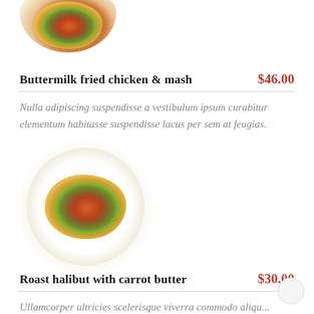[Figure (photo): Partially cropped photo of a food plate with colorful dish, shown from top, at top of page]
Buttermilk fried chicken & mash
$46.00
Nulla adipiscing suspendisse a vestibulum ipsum curabitur elementum habitasse suspendisse lacus per sem at feugias.
[Figure (photo): Photo of a white round plate with a colorful vegetable and meat dish served on it]
Roast halibut with carrot butter
$30.00
Ullamcorper ultricies scelerisque viverra commodo aliqu...